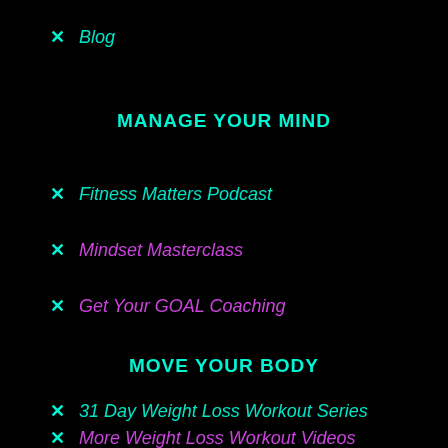Blog
MANAGE YOUR MIND
Fitness Matters Podcast
Mindset Masterclass
Get Your GOAL Coaching
MOVE YOUR BODY
31 Day Weight Loss Workout Series
More Weight Loss Workout Videos